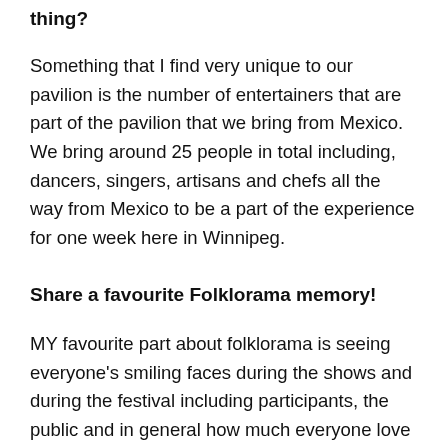thing?
Something that I find very unique to our pavilion is the number of entertainers that are part of the pavilion that we bring from Mexico. We bring around 25 people in total including, dancers, singers, artisans and chefs all the way from Mexico to be a part of the experience for one week here in Winnipeg.
Share a favourite Folklorama memory!
MY favourite part about folklorama is seeing everyone's smiling faces during the shows and during the festival including participants, the public and in general how much everyone love...